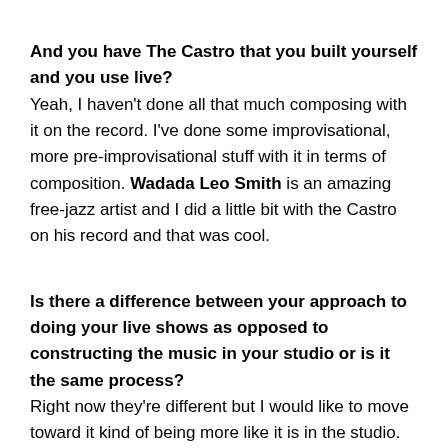And you have The Castro that you built yourself and you use live?
Yeah, I haven't done all that much composing with it on the record. I've done some improvisational, more pre-improvisational stuff with it in terms of composition. Wadada Leo Smith is an amazing free-jazz artist and I did a little bit with the Castro on his record and that was cool.
Is there a difference between your approach to doing your live shows as opposed to constructing the music in your studio or is it the same process?
Right now they're different but I would like to move toward it kind of being more like it is in the studio. I'm starting to work more and more into that, like having more of my Reaktor stuff in my set and bringing the Doepfer with me